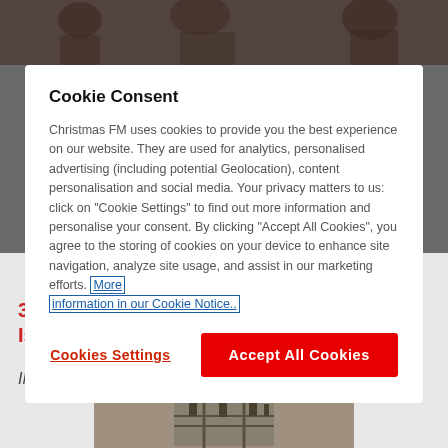[Figure (screenshot): Dark blurred background showing people in costumes at the top of the page]
Cookie Consent
Christmas FM uses cookies to provide you the best experience on our website. They are used for analytics, personalised advertising (including potential Geolocation), content personalisation and social media. Your privacy matters to us: click on "Cookie Settings" to find out more information and personalise your consent. By clicking "Accept All Cookies", you agree to the storing of cookies on your device to enhance site navigation, analyze site usage, and assist in our marketing efforts. More information in our Cookie Notice..
Cookies Settings
Accept All Cookies
3. Christmas Vacation 2: Cousin Eddie's Island Adventure (2003)
IMDB rating: 2.7 stars
[Figure (photo): Partial image of a structure or object at the bottom of the page]